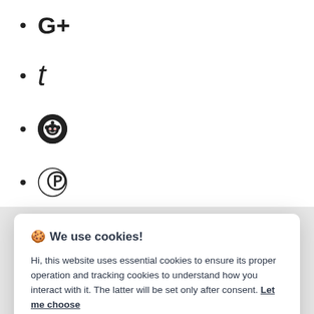G+
t
(Reddit icon)
(Pinterest icon)
(StumbleUpon icon)
🍪 We use cookies! Hi, this website uses essential cookies to ensure its proper operation and tracking cookies to understand how you interact with it. The latter will be set only after consent. Let me choose
Accept all
Reject all